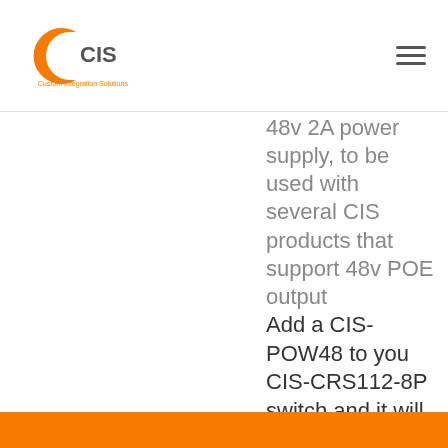CIS — Custom Integration Solutions logo and navigation menu
48v 2A power supply, to be used with several CIS products that support 48v POE output
Add a CIS-POW48 to you CIS-CRS112-8P switch and it will auto sense and auto switch with this dual voltage solution.
Connect your CIS-POW48 to your CIS-NW-POE 4 router, or CIS-SW-POE4 switch and obtain more power per port!
PRODUCT DETAILS
HOW TO BUY